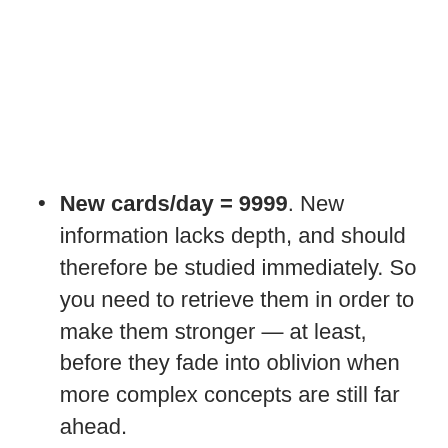New cards/day = 9999. New information lacks depth, and should therefore be studied immediately. So you need to retrieve them in order to make them stronger — at least, before they fade into oblivion when more complex concepts are still far ahead.